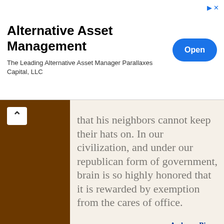[Figure (screenshot): Advertisement banner for Alternative Asset Management by Parallaxes Capital, LLC with an Open button]
that his neighbors cannot keep their hats on. In our civilization, and under our republican form of government, brain is so highly honored that it is rewarded by exemption from the cares of office.
— Ambrose Bierce
The Collected Works of Ambrose Bierce (1911), Vol. 7, The Devil's Dictionary, 41
Science quotes on: | Apparatus (60) | Brain (277) | Care (197) | Do (1908) | Form (967) | Government (113) | Great (1575) | High (365) | Honor (54) | Humour (116) | Man (2252) |
This website uses cookies to deliver its content, to show relevant ads and to analyze its traffic. Learn More
Got It!